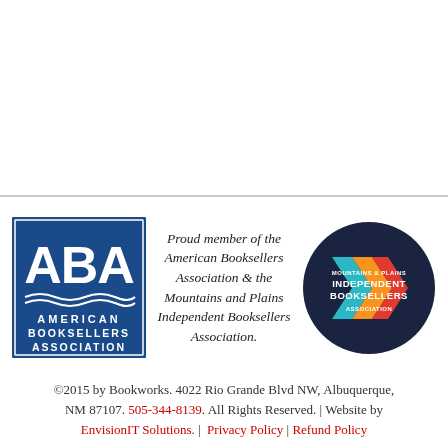[Figure (logo): American Booksellers Association (ABA) logo — blue square with white 'ABA' letters and 'AMERICAN BOOKSELLERS ASSOCIATION' text beneath]
Proud member of the American Booksellers Association & the Mountains and Plains Independent Booksellers Association.
[Figure (logo): Mountains & Plains Independent Booksellers Association circular logo — dark navy circle with teal, orange, and red geometric arrow shapes and white text]
©2015 by Bookworks. 4022 Rio Grande Blvd NW, Albuquerque, NM 87107. 505-344-8139. All Rights Reserved. | Website by EnvisionIT Solutions. | Privacy Policy | Refund Policy